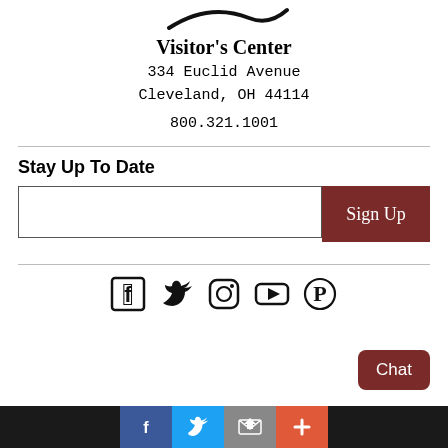[Figure (logo): Partial logo/swoosh graphic at top center]
Visitor's Center
334 Euclid Avenue
Cleveland, OH 44114
800.321.1001
Stay Up To Date
[Figure (screenshot): Email signup input field and Sign Up button]
[Figure (screenshot): Social media icons: Facebook, Twitter, Instagram, YouTube, Pinterest]
[Figure (screenshot): Chat button (brown, rounded)]
Bottom bar with social sharing icons: Facebook (blue), Twitter (light blue), Email (gray), Share/Plus (orange-red)